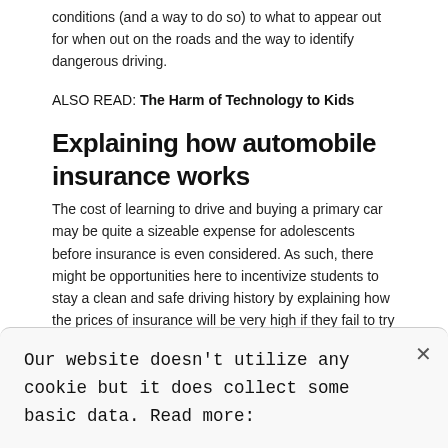conditions (and a way to do so) to what to appear out for when out on the roads and the way to identify dangerous driving.
ALSO READ: The Harm of Technology to Kids
Explaining how automobile insurance works
The cost of learning to drive and buying a primary car may be quite a sizeable expense for adolescents before insurance is even considered. As such, there might be opportunities here to incentivize students to stay a clean and safe driving history by explaining how the prices of insurance will be very high if they fail to try and do so.
There's also scope to elucidate the ways they will
Our website doesn't utilize any cookie but it does collect some basic data. Read more: